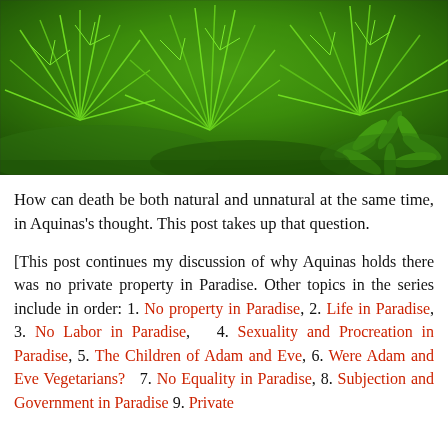[Figure (photo): Close-up photograph of lush green feathery plants (possibly aquatic or fine-leafed plants) with a broader-leafed plant visible in the lower right corner.]
How can death be both natural and unnatural at the same time, in Aquinas's thought. This post takes up that question.
[This post continues my discussion of why Aquinas holds there was no private property in Paradise. Other topics in the series include in order: 1. No property in Paradise, 2. Life in Paradise, 3. No Labor in Paradise, 4. Sexuality and Procreation in Paradise, 5. The Children of Adam and Eve, 6. Were Adam and Eve Vegetarians? 7. No Equality in Paradise, 8. Subjection and Government in Paradise 9. Private